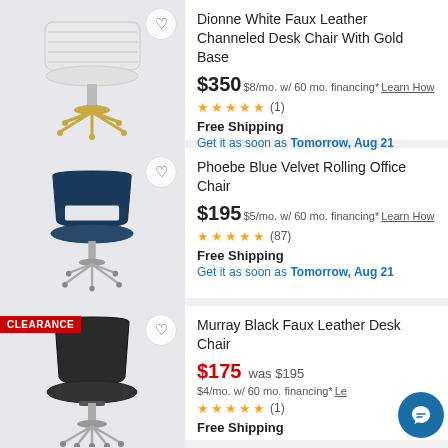[Figure (photo): White faux leather channeled desk chair with gold base on light grey background]
Dionne White Faux Leather Channeled Desk Chair With Gold Base
$350 $8/mo. w/ 60 mo. financing* Learn How
★★★★★ (1)
Free Shipping
Get it as soon as Tomorrow, Aug 21
[Figure (photo): Blue velvet rolling office chair with chrome base on light grey background]
Phoebe Blue Velvet Rolling Office Chair
$195 $5/mo. w/ 60 mo. financing* Learn How
★★★★½ (87)
Free Shipping
Get it as soon as Tomorrow, Aug 21
[Figure (photo): Black faux leather desk chair with chrome base on light grey background, with CLEARANCE badge]
Murray Black Faux Leather Desk Chair
$175 was $195 $4/mo. w/ 60 mo. financing* Le...
★★★★★ (1)
Free Shipping